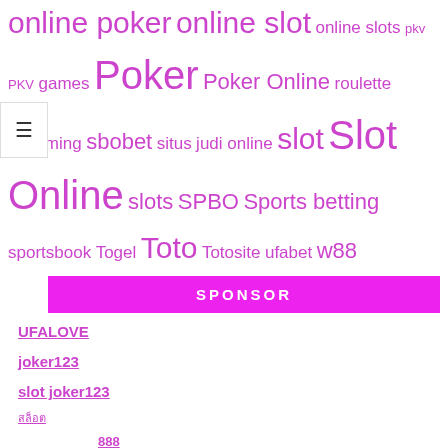online poker online slot online slots pkv PKV games Poker Poker Online roulette sagaming sbobet situs judi online slot Slot Online slots SPBO Sports betting sportsbook Togel Toto Totosite ufabet w88
SPONSOR
UFALOVE
joker123
slot joker123
สล็อต
คาสิโน 888
sbobet88
Agen SBOBET